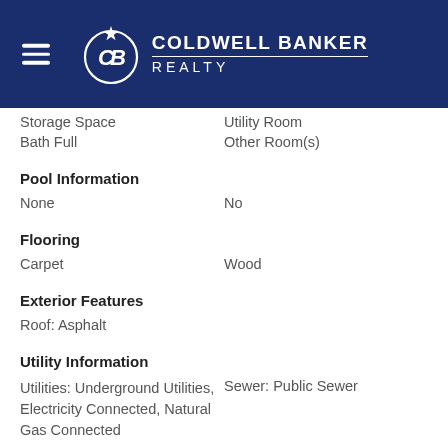[Figure (logo): Coldwell Banker Realty logo with hamburger menu icon on dark navy blue header bar]
Storage Space   Utility Room
Bath Full   Other Room(s)
Pool Information
None   No
Flooring
Carpet   Wood
Exterior Features
Roof: Asphalt
Utility Information
Utilities: Underground Utilities, Electricity Connected, Natural Gas Connected   Sewer: Public Sewer
Garage
Attached Garage